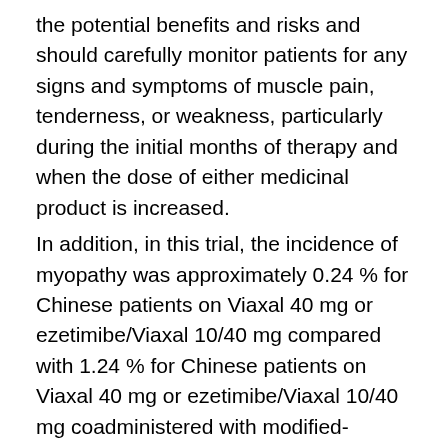the potential benefits and risks and should carefully monitor patients for any signs and symptoms of muscle pain, tenderness, or weakness, particularly during the initial months of therapy and when the dose of either medicinal product is increased. In addition, in this trial, the incidence of myopathy was approximately 0.24 % for Chinese patients on Viaxal 40 mg or ezetimibe/Viaxal 10/40 mg compared with 1.24 % for Chinese patients on Viaxal 40 mg or ezetimibe/Viaxal 10/40 mg coadministered with modified-release nicotinic acid/laropiprant 2000 mg/40 mg. While the only Asian population assessed in this clinical trial was Chinese, because the incidence of myopathy is higher in Chinese than in non-Chinese patients,